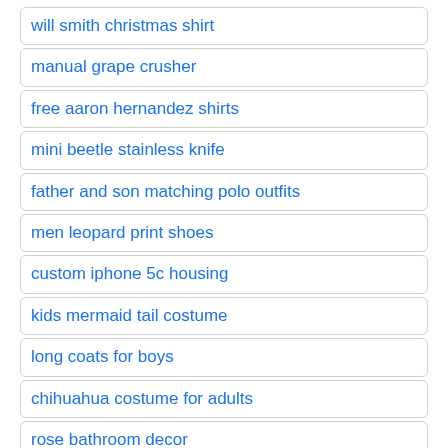will smith christmas shirt
manual grape crusher
free aaron hernandez shirts
mini beetle stainless knife
father and son matching polo outfits
men leopard print shoes
custom iphone 5c housing
kids mermaid tail costume
long coats for boys
chihuahua costume for adults
rose bathroom decor
pointed toe dress shoes for men